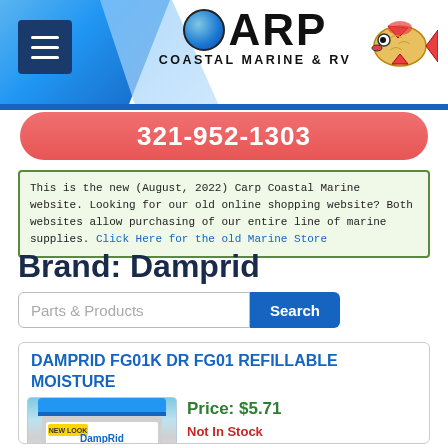CARP COASTAL MARINE & RV — 321-952-1303
This is the new (August, 2022) Carp Coastal Marine website. Looking for our old online shopping website? Both websites allow purchasing of our entire line of marine supplies. Click Here for the old Marine Store
Brand: Damprid
Parts & Products [Search]
DAMPRID FG01K DR FG01 REFILLABLE MOISTURE
Price: $5.71
Not In Stock
Click Here to be Notified